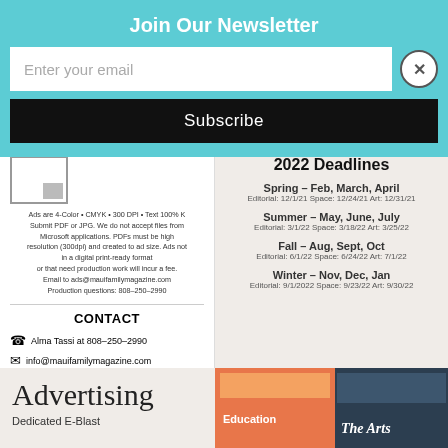Join Our Newsletter
Enter your email
Subscribe
[Figure (other): Ad size icon placeholder with grey square]
Ads are 4-Color • CMYK • 300 DPI • Text 100% K Submit PDF or JPG. We do not accept files from Microsoft applications. PDFs must be high resolution (300dpi) and created to ad size. Ads not in a digital print-ready format or that need production work will incur a fee. Email to ads@mauifamilymagazine.com Production questions: 808-250-2990
CONTACT
Alma Tassi at 808-250-2990
info@mauifamilymagazine.com
2022 Deadlines
Spring – Feb, March, April
Editorial: 12/1/21  Space: 12/24/21  Art: 12/31/21
Summer – May, June, July
Editorial: 3/1/22  Space: 3/18/22  Art: 3/25/22
Fall – Aug, Sept, Oct
Editorial: 6/1/22  Space: 6/24/22  Art: 7/1/22
Winter – Nov, Dec, Jan
Editorial: 9/1/2022  Space: 9/23/22  Art: 9/30/22
[Figure (illustration): Advertising script text logo]
Dedicated E-Blast
[Figure (photo): Maui Family Magazine Education issue and The Arts issue covers]